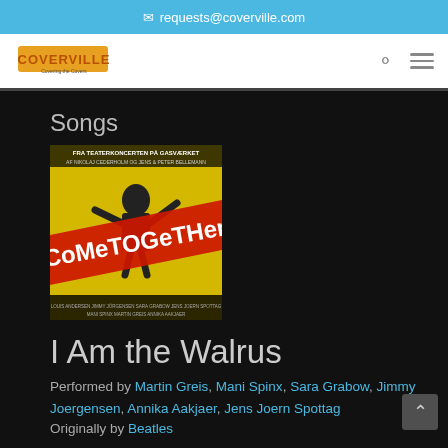✉ requests@coverville.com
[Figure (logo): Coverville logo in nav bar]
Songs
[Figure (photo): Come Together album art - Fra Teaterkoncerten Pa Gasvaerket]
I Am the Walrus
Performed by Martin Greis, Mani Spinx, Sara Grabow, Jimmy Joergensen, Annika Aakjaer, Jens Joern Spottag
Originally by Beatles